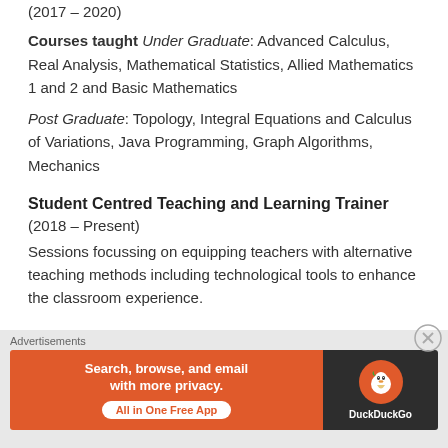(2017 – 2020)
Courses taught Under Graduate: Advanced Calculus, Real Analysis, Mathematical Statistics, Allied Mathematics 1 and 2 and Basic Mathematics
Post Graduate: Topology, Integral Equations and Calculus of Variations, Java Programming, Graph Algorithms, Mechanics
Student Centred Teaching and Learning Trainer
(2018 – Present)
Sessions focussing on equipping teachers with alternative teaching methods including technological tools to enhance the classroom experience.
[Figure (other): DuckDuckGo advertisement banner: Search, browse, and email with more privacy. All in One Free App.]